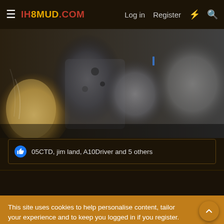IH8MUD.COM  Log in  Register
[Figure (photo): Close-up photo of vehicle engine components, showing metal exhaust/engine parts in grey and silver tones]
05CTD, jim land, A10Driver and 5 others
This site uses cookies to help personalise content, tailor your experience and to keep you logged in if you register.
By continuing to use this site, you are consenting to our use of cookies.
✓ Accept  Learn more...